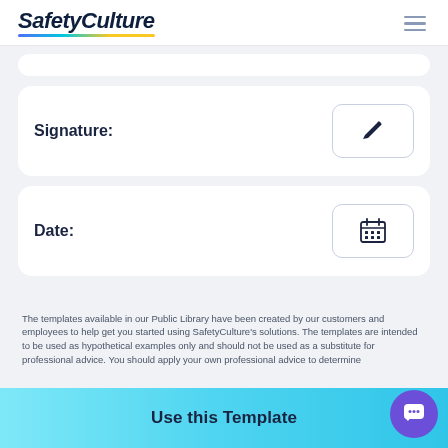SafetyCulture
[Figure (other): Signature field card with pencil/edit icon button]
[Figure (other): Date field card with calendar icon button]
The templates available in our Public Library have been created by our customers and employees to help get you started using SafetyCulture's solutions. The templates are intended to be used as hypothetical examples only and should not be used as a substitute for professional advice. You should apply your own professional advice to determine...
[Figure (other): Use this Template button (cyan/teal gradient)]